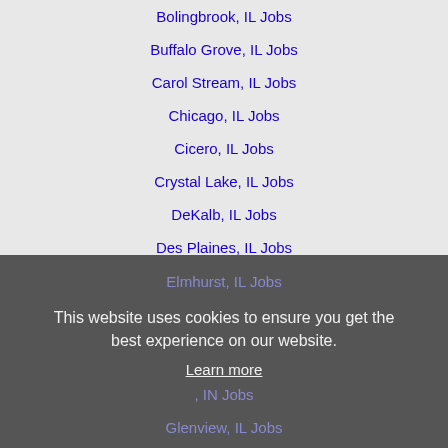Bolingbrook, IL Jobs
Buffalo Grove, IL Jobs
Carol Stream, IL Jobs
Chicago, IL Jobs
Cicero, IL Jobs
Crystal Lake, IL Jobs
DeKalb, IL Jobs
Des Plaines, IL Jobs
Downers Grove, IL Jobs
Elgin, IL Jobs
Elmhurst, IL Jobs
This website uses cookies to ensure you get the best experience on our website.
Learn more
Glenview, IL Jobs
Hammond, IN Jobs
Hoffman Estates, IL Jobs
Janesville, WI Jobs